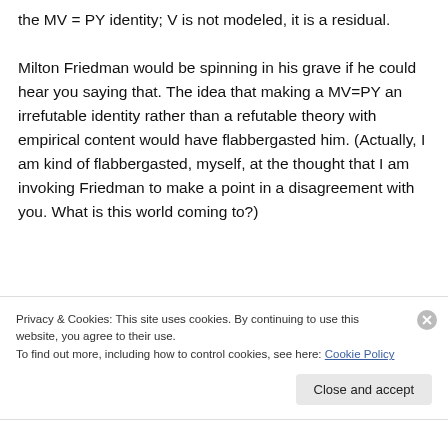the MV = PY identity; V is not modeled, it is a residual.
Milton Friedman would be spinning in his grave if he could hear you saying that. The idea that making a MV=PY an irrefutable identity rather than a refutable theory with empirical content would have flabbergasted him. (Actually, I am kind of flabbergasted, myself, at the thought that I am invoking Friedman to make a point in a disagreement with you. What is this world coming to?)
Privacy & Cookies: This site uses cookies. By continuing to use this website, you agree to their use.
To find out more, including how to control cookies, see here: Cookie Policy